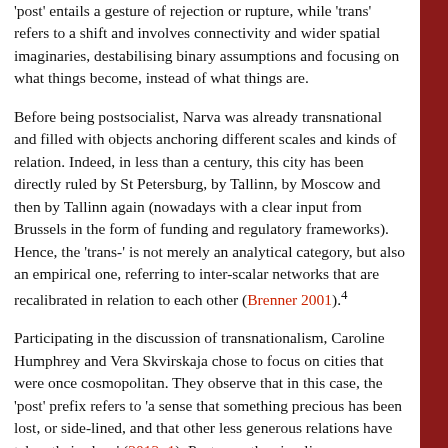'post' entails a gesture of rejection or rupture, while 'trans' refers to a shift and involves connectivity and wider spatial imaginaries, destabilising binary assumptions and focusing on what things become, instead of what things are.
Before being postsocialist, Narva was already transnational and filled with objects anchoring different scales and kinds of relation. Indeed, in less than a century, this city has been directly ruled by St Petersburg, by Tallinn, by Moscow and then by Tallinn again (nowadays with a clear input from Brussels in the form of funding and regulatory frameworks). Hence, the 'trans-' is not merely an analytical category, but also an empirical one, referring to inter-scalar networks that are recalibrated in relation to each other (Brenner 2001).⁴
Participating in the discussion of transnationalism, Caroline Humphrey and Vera Skvirskaja chose to focus on cities that were once cosmopolitan. They observe that in this case, the 'post' prefix refers to 'a sense that something precious has been lost, or side-lined, and that other less generous relations have taken their place' (2012: 1). Post-ness thus implies incompleteness...